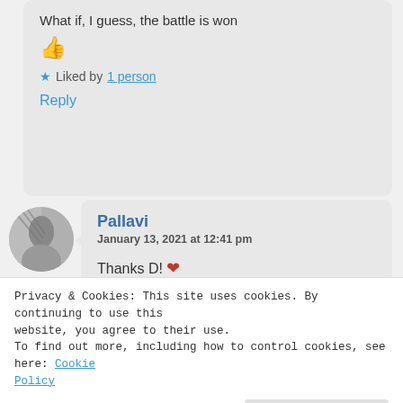What if, I guess, the battle is won
👍
★ Liked by 1 person
Reply
[Figure (photo): Circular avatar photo of a person in black and white]
Pallavi
January 13, 2021 at 12:41 pm
Thanks D! ❤
★ Like
Reply
Privacy & Cookies: This site uses cookies. By continuing to use this website, you agree to their use.
To find out more, including how to control cookies, see here: Cookie Policy
Close and accept